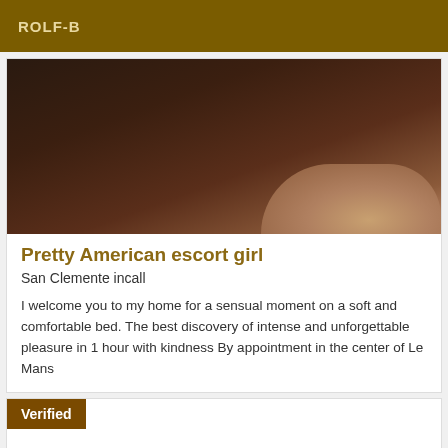ROLF-B
[Figure (photo): Close-up photo showing a dark brown blurred background with skin-tone surface in the lower right, suggesting a person on a bed.]
Pretty American escort girl
San Clemente incall
I welcome you to my home for a sensual moment on a soft and comfortable bed. The best discovery of intense and unforgettable pleasure in 1 hour with kindness By appointment in the center of Le Mans
Verified